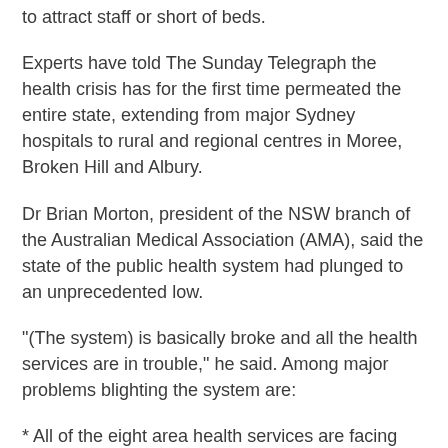to attract staff or short of beds.
Experts have told The Sunday Telegraph the health crisis has for the first time permeated the entire state, extending from major Sydney hospitals to rural and regional centres in Moree, Broken Hill and Albury.
Dr Brian Morton, president of the NSW branch of the Australian Medical Association (AMA), said the state of the public health system had plunged to an unprecedented low.
"(The system) is basically broke and all the health services are in trouble," he said. Among major problems blighting the system are:
* All of the eight area health services are facing major funding, staffing and supply shortages.
* New fears of deadly superbug outbreaks, as cleaning budgets are slashed across NSW,